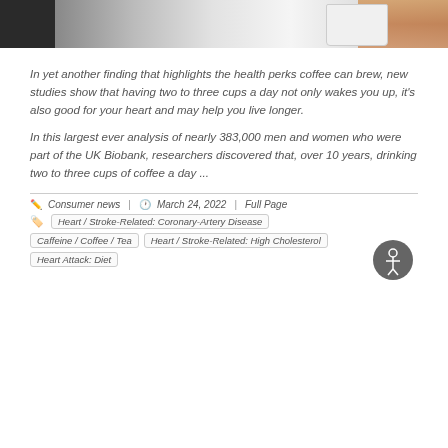[Figure (photo): Photo of a hand pouring coffee from a coffee pot into a white mug, with a dark coffee maker on the left.]
In yet another finding that highlights the health perks coffee can brew, new studies show that having two to three cups a day not only wakes you up, it's also good for your heart and may help you live longer.
In this largest ever analysis of nearly 383,000 men and women who were part of the UK Biobank, researchers discovered that, over 10 years, drinking two to three cups of coffee a day ...
Consumer news | March 24, 2022 | Full Page
Heart / Stroke-Related: Coronary-Artery Disease
Caffeine / Coffee / Tea
Heart / Stroke-Related: High Cholesterol
Heart Attack: Diet